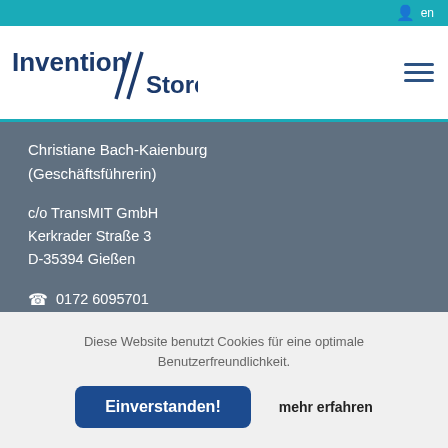en
[Figure (logo): Invention Store logo with double diagonal slash marks between 'Invention' and 'Store', dark blue text]
Christiane Bach-Kaienburg (Geschäftsführerin)
c/o TransMIT GmbH
Kerkrader Straße 3
D-35394 Gießen
0172 6095701
info@transferallianz.de
www.transferallianz.de
Diese Website benutzt Cookies für eine optimale Benutzerfreundlichkeit.
Einverstanden!
mehr erfahren